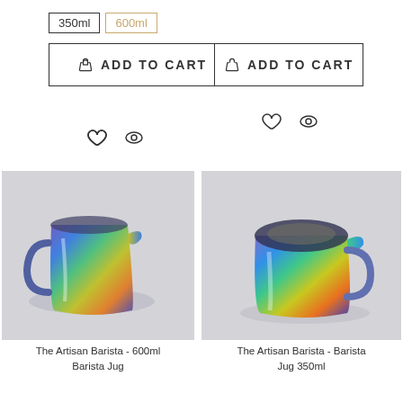[Figure (screenshot): Size selector buttons: '350ml' (outlined/selected) and '600ml' (muted gold/outlined) for left product]
[Figure (screenshot): ADD TO CART button with shopping bag icon for left product]
[Figure (screenshot): Wishlist (heart) and quick-view (eye) icons for left product]
[Figure (screenshot): ADD TO CART button with shopping bag icon for right product]
[Figure (screenshot): Wishlist (heart) and quick-view (eye) icons for right product]
[Figure (photo): Rainbow iridescent 600ml barista milk jug on grey background]
The Artisan Barista - 600ml Barista Jug
[Figure (photo): Rainbow iridescent 350ml barista milk jug on grey background, viewed from top-front angle]
The Artisan Barista - Barista Jug 350ml